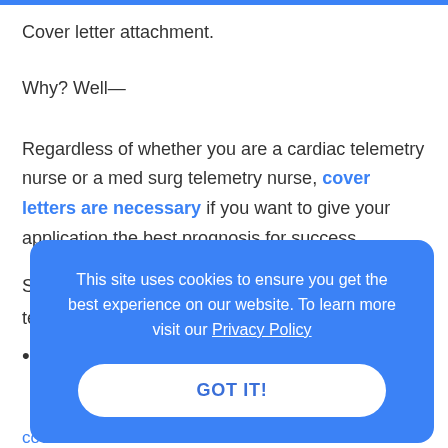Cover letter attachment.
Why? Well—
Regardless of whether you are a cardiac telemetry nurse or a med surg telemetry nurse, cover letters are necessary if you want to give your application the best prognosis for success.
So,
tele
This site uses cookies to ensure you get the best experience on our website. To learn more visit our Privacy Policy
GOT IT!
cover letter.